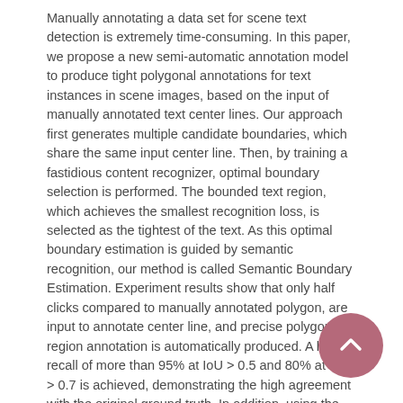Manually annotating a data set for scene text detection is extremely time-consuming. In this paper, we propose a new semi-automatic annotation model to produce tight polygonal annotations for text instances in scene images, based on the input of manually annotated text center lines. Our approach first generates multiple candidate boundaries, which share the same input center line. Then, by training a fastidious content recognizer, optimal boundary selection is performed. The bounded text region, which achieves the smallest recognition loss, is selected as the tightest of the text. As this optimal boundary estimation is guided by semantic recognition, our method is called Semantic Boundary Estimation. Experiment results show that only half clicks compared to manually annotated polygon, are input to annotate center line, and precise polygon text region annotation is automatically produced. A high recall of more than 95% at IoU > 0.5 and 80% at IoU > 0.7 is achieved, demonstrating the high agreement with the original ground truth. In addition, using the generated annotations on benchmarks, such as Total-Text, CTW1500 and ICDAR2015, to train state-of-the-art detectors can achieve similar performance to those trained with manual annotations. This further verifies the good annotation performance. A annotation toolkit based on the proposed model is available at CenterlineAnnotation.
[Figure (other): A circular scroll-to-top button in muted rose/pink color with an upward-pointing chevron arrow icon, overlaid in the bottom-right corner of the page.]